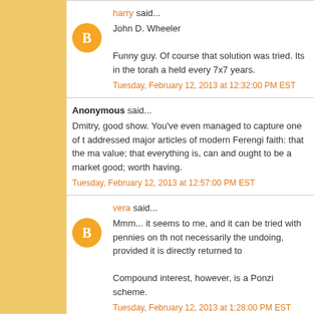harry said... John D. Wheeler
Funny guy. Of course that solution was tried. Its in the torah a held every 7x7 years.
Tuesday, February 12, 2013 at 12:32:00 PM EST
Anonymous said...
Dmitry, good show. You've even managed to capture one of t addressed major articles of modern Ferengi faith: that the ma value; that everything is, can and ought to be a market good; worth having.
Tuesday, February 12, 2013 at 12:57:00 PM EST
vera said...
Mmm... it seems to me, and it can be tried with pennies on th not necessarily the undoing, provided it is directly returned to
Compound interest, however, is a Ponzi scheme.
Tuesday, February 12, 2013 at 1:28:00 PM EST
Ruben said...